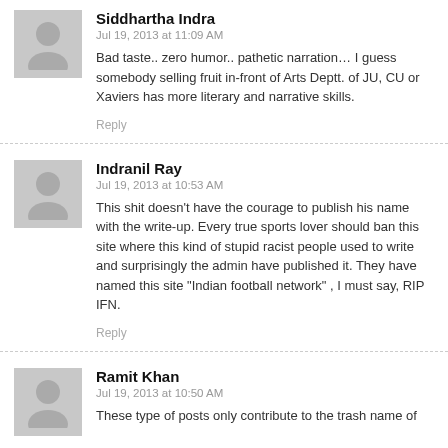Siddhartha Indra
Jul 19, 2013 at 11:09 AM
Bad taste.. zero humor.. pathetic narration… I guess somebody selling fruit in-front of Arts Deptt. of JU, CU or Xaviers has more literary and narrative skills.
Reply
Indranil Ray
Jul 19, 2013 at 10:53 AM
This shit doesn't have the courage to publish his name with the write-up. Every true sports lover should ban this site where this kind of stupid racist people used to write and surprisingly the admin have published it. They have named this site "Indian football network" , I must say, RIP IFN.
Reply
Ramit Khan
Jul 19, 2013 at 10:50 AM
These type of posts only contribute to the trash name of